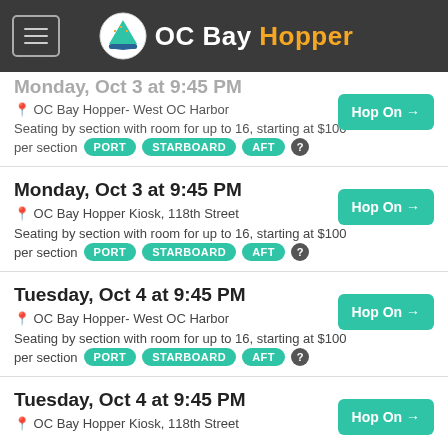OC Bay Hopper
Monday, Oct 3 at 9:45 PM — OC Bay Hopper- West OC Harbor — Seating by section with room for up to 16, starting at $100 per section PORT STARBOARD AFT (partial, clipped at top)
Monday, Oct 3 at 9:45 PM
OC Bay Hopper Kiosk, 118th Street
Seating by section with room for up to 16, starting at $100 per section PORT STARBOARD AFT — Hop On →
Tuesday, Oct 4 at 9:45 PM
OC Bay Hopper- West OC Harbor
Seating by section with room for up to 16, starting at $100 per section PORT STARBOARD AFT — Hop On →
Tuesday, Oct 4 at 9:45 PM
OC Bay Hopper Kiosk, 118th Street
Hop On →